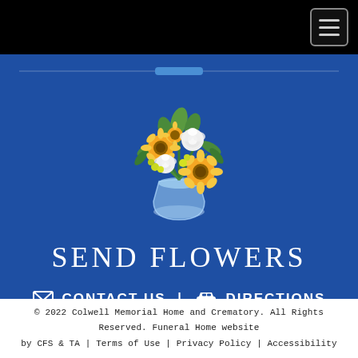Navigation bar with hamburger menu
[Figure (illustration): A floral bouquet arrangement in a glass vase with yellow sunflowers, white roses, and green foliage on a blue background]
SEND FLOWERS
✉ CONTACT US | 🚗 DIRECTIONS
© 2022 Colwell Memorial Home and Crematory. All Rights Reserved. Funeral Home website by CFS & TA | Terms of Use | Privacy Policy | Accessibility